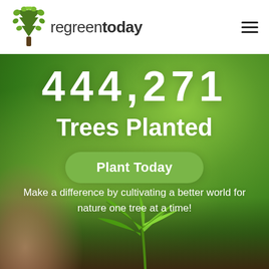[Figure (logo): Regreen Today logo: green tree icon on left, text 'regreentoday' with 'regreen' in lighter weight and 'today' in bold]
regreentoday
444,271
Trees Planted
Plant Today
Make a difference by cultivating a better world for nature one tree at a time!
[Figure (photo): Background hero image: blurred green bokeh background with human hand holding a small green seedling plant in the foreground at the bottom center]